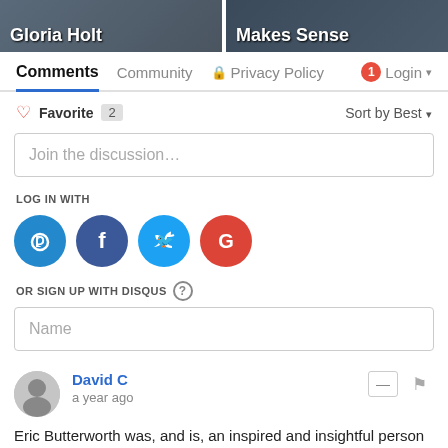[Figure (screenshot): Top banner showing two cropped images side by side: left shows 'Gloria Holt' text overlay on a photo, right shows 'Makes Sense' text overlay on a photo]
Comments   Community   🔒 Privacy Policy   1 Login ▾
♡ Favorite  2                                Sort by Best ▾
Join the discussion…
LOG IN WITH
[Figure (infographic): Social login buttons: Disqus (blue circle D), Facebook (dark blue circle f), Twitter (light blue circle bird), Google (red circle G)]
OR SIGN UP WITH DISQUS ?
Name
David C
a year ago
Eric Butterworth was, and is, an inspired and insightful person who has helped me so much.